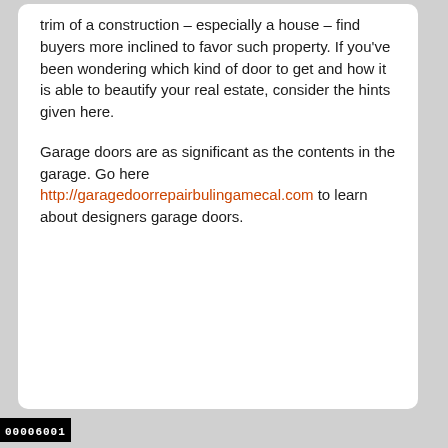trim of a construction – especially a house – find buyers more inclined to favor such property. If you've been wondering which kind of door to get and how it is able to beautify your real estate, consider the hints given here.
Garage doors are as significant as the contents in the garage. Go here http://garagedoorrepairbulingamecal.com to learn about designers garage doors.
00006001